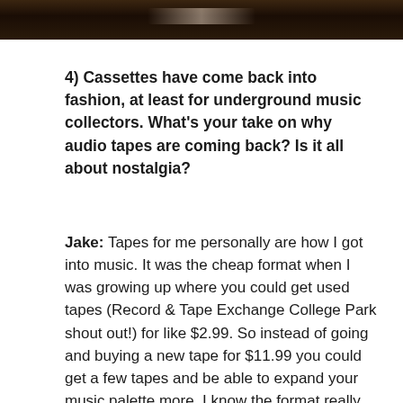[Figure (photo): Cropped photo at top showing what appears to be a cassette tape on a wooden surface, dark and partially visible]
4) Cassettes have come back into fashion, at least for underground music collectors. What’s your take on why audio tapes are coming back? Is it all about nostalgia?
Jake: Tapes for me personally are how I got into music. It was the cheap format when I was growing up where you could get used tapes (Record & Tape Exchange College Park shout out!) for like $2.99. So instead of going and buying a new tape for $11.99 you could get a few tapes and be able to expand your music palette more. I know the format really well and personally it’s always been a favorite format to listen to music. Kim has a dub of Pretty Hate Machine on a TDK tape from the 90’s and that tape will be listened to more when it comes back.